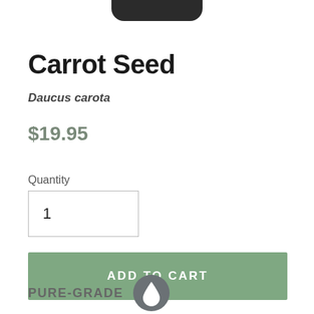[Figure (photo): Partial view of a dark product bottle cap/top, cropped at the top of the page]
Carrot Seed
Daucus carota
$19.95
Quantity
1
ADD TO CART
PURE-GRADE